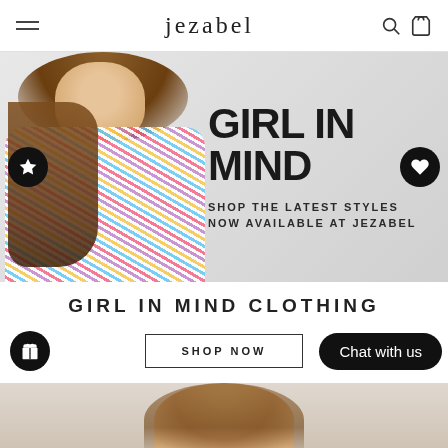jezabel
[Figure (photo): Fashion banner showing a female model wearing a colorful floral dress with puff sleeves, with text overlay 'GIRL IN MIND - SHOP THE LATEST STYLES NOW AVAILABLE AT JEZABEL'. Navigation arrows on left and right sides.]
GIRL IN MIND CLOTHING
SHOP NOW
Chat with us
[Figure (photo): Bottom portion of page showing the top of a female model's head/hair against a light background.]